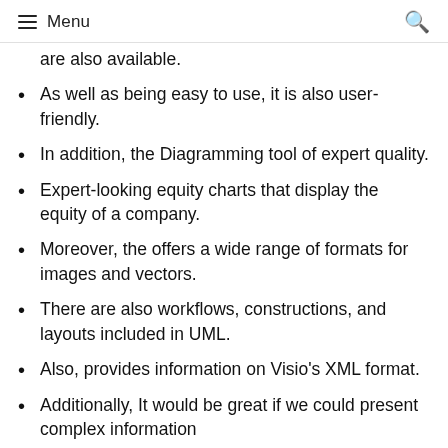Menu
are also available.
As well as being easy to use, it is also user-friendly.
In addition, the Diagramming tool of expert quality.
Expert-looking equity charts that display the equity of a company.
Moreover, the offers a wide range of formats for images and vectors.
There are also workflows, constructions, and layouts included in UML.
Also, provides information on Visio's XML format.
Additionally, It would be great if we could present complex information